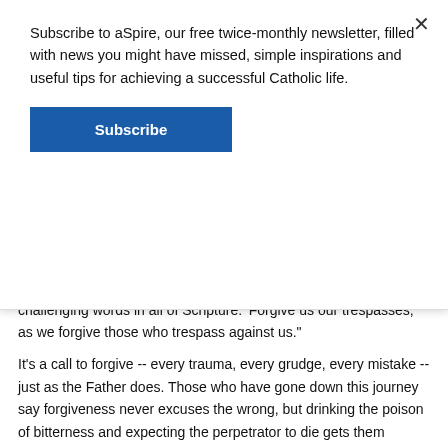Subscribe to aSpire, our free twice-monthly newsletter, filled with news you might have missed, simple inspirations and useful tips for achieving a successful Catholic life.
Subscribe
challenging words in all of Scripture.  'Forgive us our trespasses, as we forgive those who trespass against us.'
It's a call to forgive -- every trauma, every grudge, every mistake -- just as the Father does. Those who have gone down this journey say forgiveness never excuses the wrong, but drinking the poison of bitterness and expecting the perpetrator to die gets them nowhere.
‘Good side of closure’
John Perdzock fell silent while contemplating what forgiveness means to him.
“God, what is forgiveness? ‘Hi Jeff, how you doin’?’” he said in a